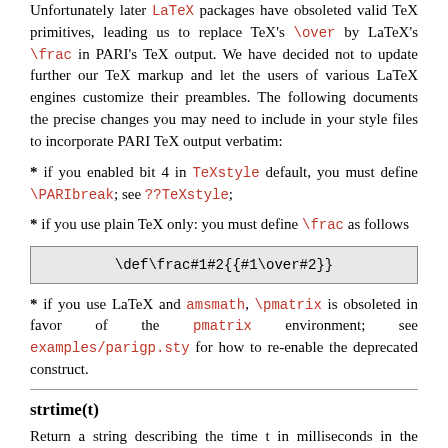Unfortunately later LaTeX packages have obsoleted valid TeX primitives, leading us to replace TeX's \over by LaTeX's \frac in PARI's TeX output. We have decided not to update further our TeX markup and let the users of various LaTeX engines customize their preambles. The following documents the precise changes you may need to include in your style files to incorporate PARI TeX output verbatim:
* if you enabled bit 4 in TeXstyle default, you must define \PARIbreak; see ??TeXstyle;
* if you use plain TeX only: you must define \frac as follows
\def\frac#1#2{{#1\over#2}}
* if you use LaTeX and amsmath, \pmatrix is obsoleted in favor of the pmatrix environment; see examples/parigp.sty for how to re-enable the deprecated construct.
strtime(t)
Return a string describing the time t in milliseconds in the format used by the GP timer.